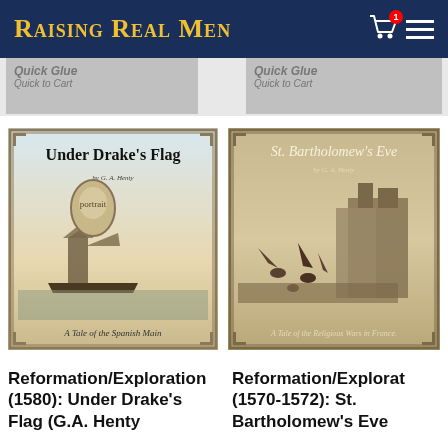Raising Real Men
[Figure (illustration): Book cover: Under Drake's Flag - A Tale of the Spanish Main, by G.A. Henty. Shows a sailing ship in dramatic seascape with ornate border.]
[Figure (illustration): Book cover: St. Bartholomew's Eve - A Tale of the Religious Wars in France, by G.A. Henty. Shows a battle/massacre scene with buildings and figures.]
Reformation/Exploration (1580): Under Drake's Flag (G.A. Henty
Reformation/Exploration (1570-1572): St. Bartholomew's Eve